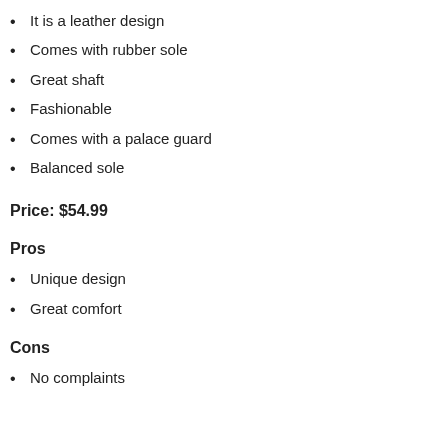It is a leather design
Comes with rubber sole
Great shaft
Fashionable
Comes with a palace guard
Balanced sole
Price: $54.99
Pros
Unique design
Great comfort
Cons
No complaints